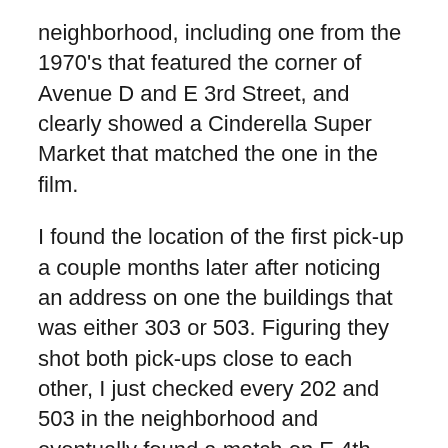neighborhood, including one from the 1970's that featured the corner of Avenue D and E 3rd Street, and clearly showed a Cinderella Super Market that matched the one in the film.
I found the location of the first pick-up a couple months later after noticing an address on one the buildings that was either 303 or 503. Figuring they shot both pick-ups close to each other, I just checked every 202 and 503 in the neighborhood and eventually found a match on E 4th Street.
It might be noted that after the second pick-up, the action jumps a bit. The two cops drive away from the barber shop at East 3rd and Avenue D, and suddenly end up on Great Jones between Bowery and Lafayette